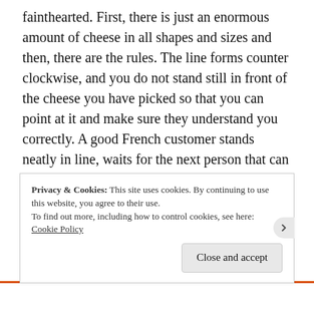fainthearted. First, there is just an enormous amount of cheese in all shapes and sizes and then, there are the rules. The line forms counter clockwise, and you do not stand still in front of the cheese you have picked so that you can point at it and make sure they understand you correctly. A good French customer stands neatly in line, waits for the next person that can help them and rattles off their list of cheeses, without having them anywhere near. So I left like an amateur as I struggled to remember all the cheeses I had seen and wanted to buy in my few dry-runs. In the end, I came away with a bag-
Privacy & Cookies: This site uses cookies. By continuing to use this website, you agree to their use.
To find out more, including how to control cookies, see here:
Cookie Policy
Close and accept